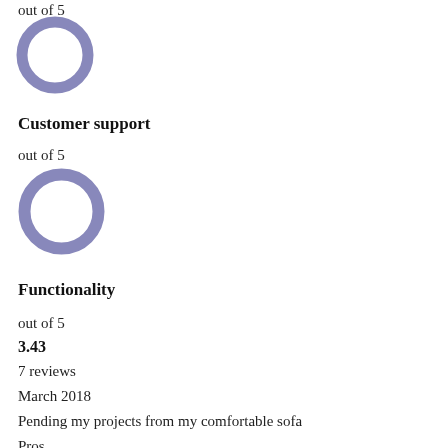out of 5
[Figure (donut-chart): Empty donut/ring circle in medium purple/periwinkle color, representing a rating chart with no fill (0 out of 5)]
Customer support
out of 5
[Figure (donut-chart): Empty donut/ring circle in medium purple/periwinkle color, representing a rating chart with no fill (0 out of 5) for Customer support]
Functionality
out of 5
3.43
7 reviews
March 2018
Pending my projects from my comfortable sofa
Pros